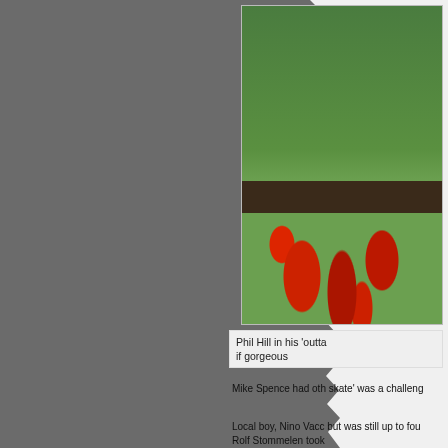[Figure (photo): Outdoor photograph showing green grass field with red poppy flowers and dark earth strip in the middle ground]
Phil Hill in his 'outta if gorgeous
Mike Spence had oth skate' was a challeng
Local boy, Nino Vacc but was still up to fou Rolf Stommelen took